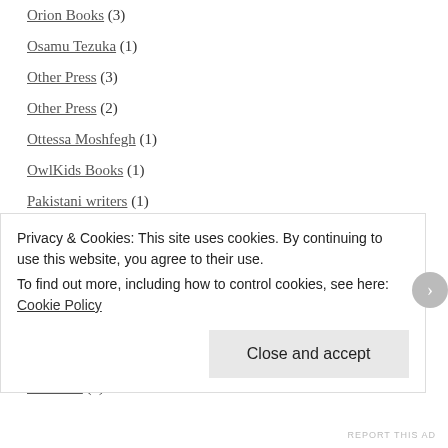Orion Books (3)
Osamu Tezuka (1)
Other Press (3)
Other Press (2)
Ottessa Moshfegh (1)
OwlKids Books (1)
Pakistani writers (1)
Palgrave Macmillan (1)
Pamela August Russell (1)
PAN (10)
Pan MacMillan India (1)
Panmacmillan (20)
Pantheon (6)
Privacy & Cookies: This site uses cookies. By continuing to use this website, you agree to their use.
To find out more, including how to control cookies, see here: Cookie Policy
Close and accept
REPORT THIS AD